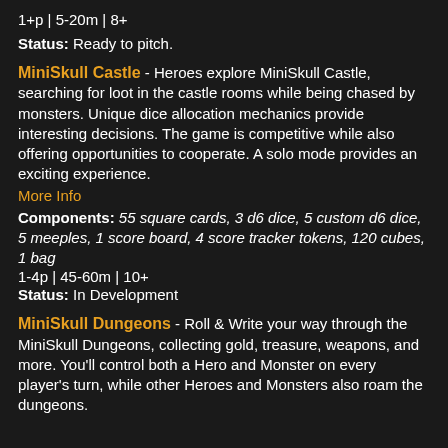1+p | 5-20m | 8+
Status: Ready to pitch.
MiniSkull Castle - Heroes explore MiniSkull Castle, searching for loot in the castle rooms while being chased by monsters.  Unique dice allocation mechanics provide interesting decisions.  The game is competitive while also offering opportunities to cooperate.  A solo mode provides an exciting experience.
More Info
Components: 55 square cards, 3 d6 dice, 5 custom d6 dice, 5 meeples, 1 score board, 4 score tracker tokens, 120 cubes, 1 bag
1-4p | 45-60m | 10+
Status: In Development
MiniSkull Dungeons - Roll & Write your way through the MiniSkull Dungeons, collecting gold, treasure, weapons, and more.  You'll control both a Hero and Monster on every player's turn, while other Heroes and Monsters also roam the dungeons.